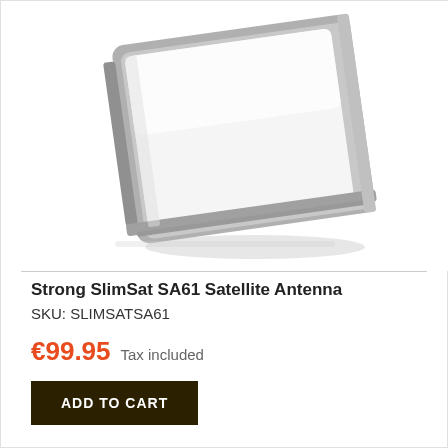[Figure (photo): Strong SlimSat SA61 satellite antenna — a flat, rectangular white panel with a silver/grey edge frame, shown at a slight angle with drop shadow on a white background.]
Strong SlimSat SA61 Satellite Antenna
SKU: SLIMSATSA61
€99.95  Tax included
ADD TO CART